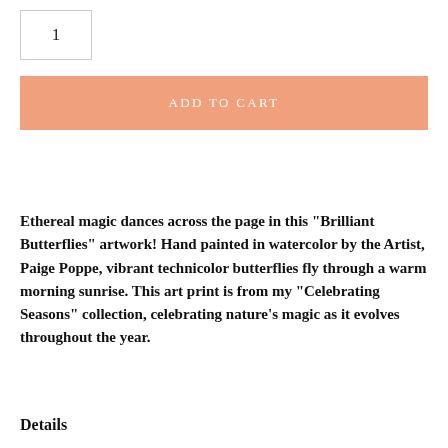1
ADD TO CART
Ethereal magic dances across the page in this "Brilliant Butterflies" artwork! Hand painted in watercolor by the Artist, Paige Poppe, vibrant technicolor butterflies fly through a warm morning sunrise. This art print is from my "Celebrating Seasons" collection, celebrating nature's magic as it evolves throughout the year.
Details